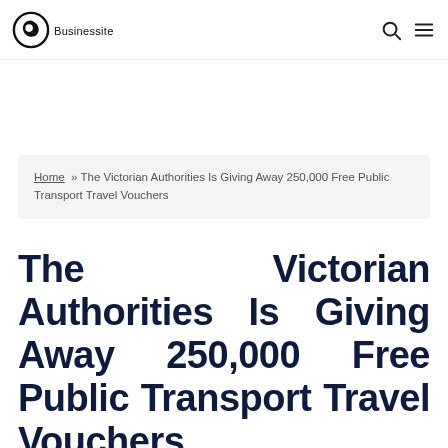Businessite
Home » The Victorian Authorities Is Giving Away 250,000 Free Public Transport Travel Vouchers
The Victorian Authorities Is Giving Away 250,000 Free Public Transport Travel Vouchers